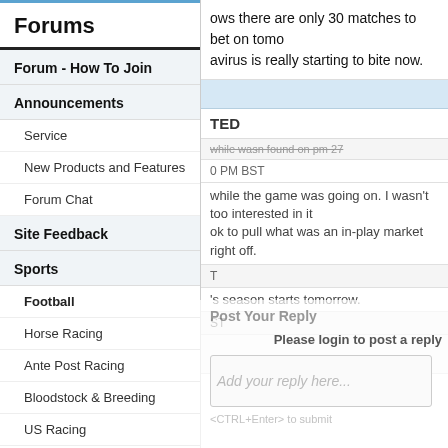Forums
Forum - How To Join
Announcements
Service
New Products and Features
Forum Chat
Site Feedback
Sports
Football
Horse Racing
Ante Post Racing
Bloodstock & Breeding
US Racing
ows there are only 30 matches to bet on tomo avirus is really starting to bite now.
TED
while wasn found on pm 27
0 PM BST
while the game was going on. I wasn't too interested in it ok to pull what was an in-play market right off.
T
's season starts tomorrow.
ST
Post Your Reply
Add your reply here...
Please login to post a reply
<CTRL+Enter> to submit